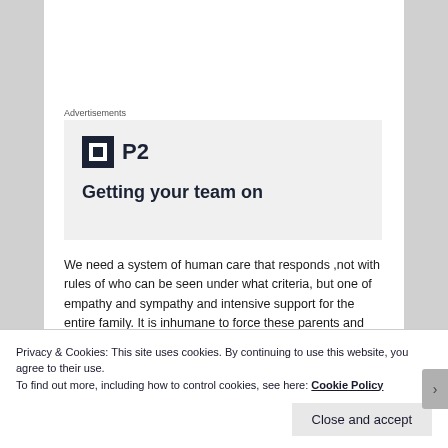Advertisements
[Figure (logo): P2 product advertisement logo with icon and partial tagline 'Getting your team on']
We need a system of human care that responds ,not with rules of who can be seen under what criteria, but one of empathy and sympathy and intensive support for the entire family. It is inhumane to force these parents and guardians to be professionals mental health workers
Privacy & Cookies: This site uses cookies. By continuing to use this website, you agree to their use.
To find out more, including how to control cookies, see here: Cookie Policy
Close and accept